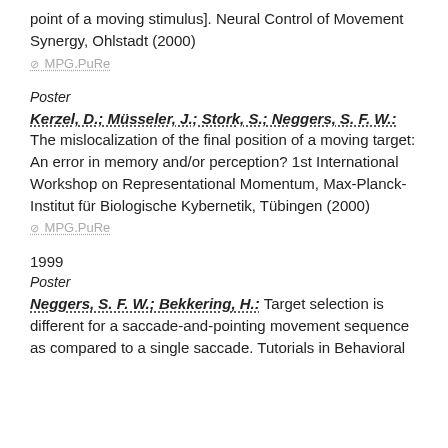point of a moving stimulus]. Neural Control of Movement Synergy, Ohlstadt (2000)
⊘ MPG.PuRe
Poster
Kerzel, D.; Müsseler, J.; Stork, S.; Neggers, S. F. W.: The mislocalization of the final position of a moving target: An error in memory and/or perception? 1st International Workshop on Representational Momentum, Max-Planck-Institut für Biologische Kybernetik, Tübingen (2000)
⊘ MPG.PuRe
1999
Poster
Neggers, S. F. W.; Bekkering, H.: Target selection is different for a saccade-and-pointing movement sequence as compared to a single saccade. Tutorials in Behavioral